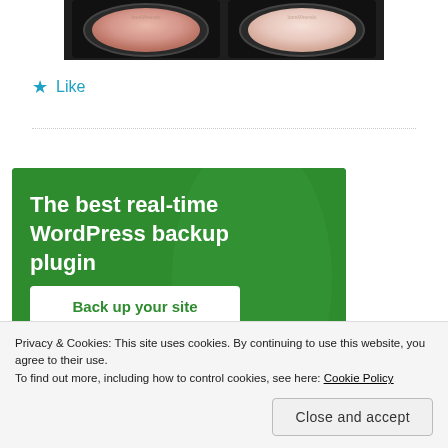[Figure (photo): Top portion of a photo showing two open makeup compact cases with powder in shades of pink/blush on a dark background]
★ Like
[Figure (infographic): Green advertisement banner reading 'The best real-time WordPress backup plugin' with a white button 'Back up your site']
Privacy & Cookies: This site uses cookies. By continuing to use this website, you agree to their use.
To find out more, including how to control cookies, see here: Cookie Policy
Close and accept